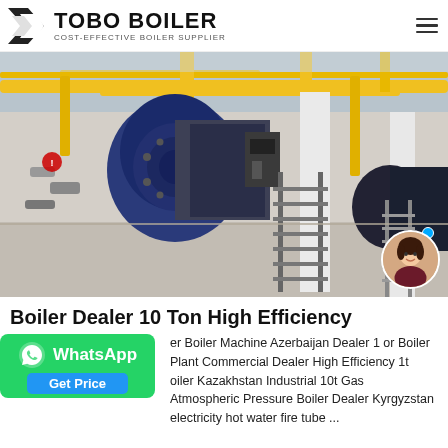TOBO BOILER - COST-EFFECTIVE BOILER SUPPLIER
[Figure (photo): Industrial boiler room with blue cylindrical boilers, yellow overhead piping, metal staircases, and white structural columns. Multiple large gas boilers installed in a factory setting.]
Boiler Dealer 10 Ton High Efficiency
er Boiler Machine Azerbaijan Dealer 1 or Boiler Plant Commercial Dealer High Efficiency 1t oiler Kazakhstan Industrial 10t Gas Atmospheric Pressure Boiler Dealer Kyrgyzstan electricity hot water fire tube ...